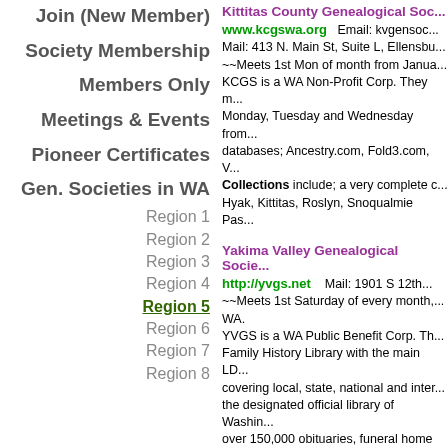Join (New Member)
Society Membership
Members Only
Meetings & Events
Pioneer Certificates
Gen. Societies in WA
Region 1
Region 2
Region 3
Region 4
Region 5
Region 6
Region 7
Region 8
Kittitas County Genealogical Soc...
www.kcgswa.org   Email: kvgensoc... Mail: 413 N. Main St, Suite L, Ellensbu... ~~Meets 1st Mon of month from Janua... KCGS is a WA Non-Profit Corp. They m... Monday, Tuesday and Wednesday from... databases; Ancestry.com, Fold3.com, V... Collections include; a very complete c... Hyak, Kittitas, Roslyn, Snoqualmie Pas...
Yakima Valley Genealogical Socie...
http://yvgs.net   Mail: 1901 S 12th... ~~Meets 1st Saturday of every month,... WA. YVGS is a WA Public Benefit Corp. Th... Family History Library with the main LD... covering local, state, national and inter... the designated official library of Washin... over 150,000 obituaries, funeral home r... online and searchable on their website... classes. Service area includes; Nache... Grandview, Zillah, Bickleton, Goldenda... Reservation.